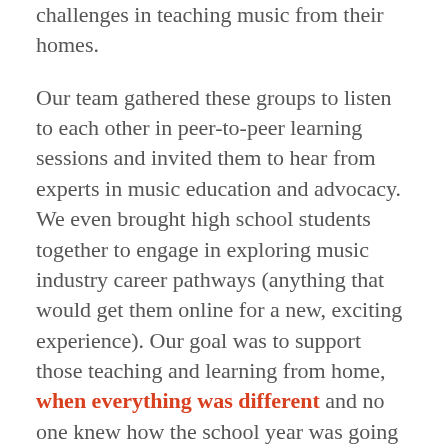challenges in teaching music from their homes.
Our team gathered these groups to listen to each other in peer-to-peer learning sessions and invited them to hear from experts in music education and advocacy. We even brought high school students together to engage in exploring music industry career pathways (anything that would get them online for a new, exciting experience). Our goal was to support those teaching and learning from home, when everything was different and no one knew how the school year was going to proceed.
Meanwhile, our online music education resources page exploded. It was my